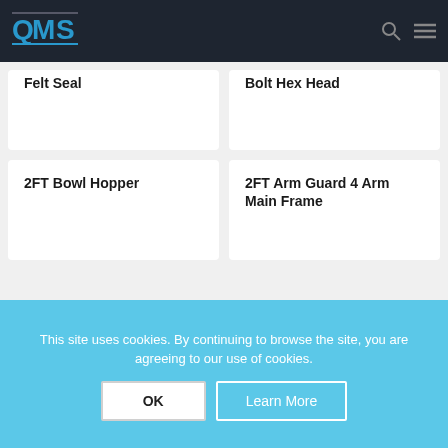QMS
Felt Seal
Bolt Hex Head
2FT Bowl Hopper
2FT Arm Guard 4 Arm Main Frame
This site uses cookies. By continuing to browse the site, you are agreeing to our use of cookies.
OK
Learn More
CONTACT US